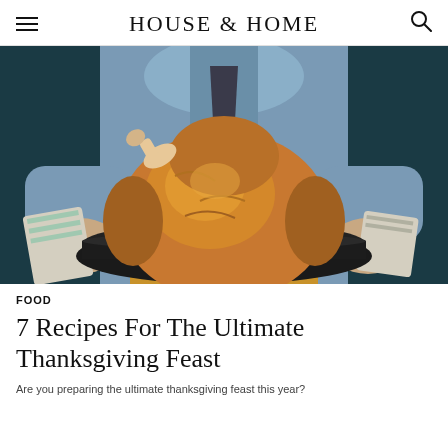HOUSE & HOME
[Figure (photo): A person in a blue shirt and mustard apron holding a dark roasting pan with a whole golden-brown roasted turkey on it, using cloth napkins as oven mitts, against a dark teal background.]
FOOD
7 Recipes For The Ultimate Thanksgiving Feast
Are you preparing the ultimate thanksgiving feast this year?